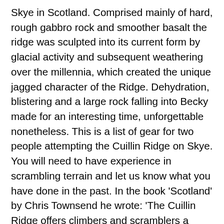Skye in Scotland. Comprised mainly of hard, rough gabbro rock and smoother basalt the ridge was sculpted into its current form by glacial activity and subsequent weathering over the millennia, which created the unique jagged character of the Ridge. Dehydration, blistering and a large rock falling into Becky made for an interesting time, unforgettable nonetheless. This is a list of gear for two people attempting the Cuillin Ridge on Skye. You will need to have experience in scrambling terrain and let us know what you have done in the past. In the book 'Scotland' by Chris Townsend he wrote: 'The Cuillin Ridge offers climbers and scramblers a liefetime's worth of exploration. That said the Cuillins can hold snow, and can snow in June/July. The Cuillin(Scottish Gaelic: An Cuilthionnor An Cuiltheann) is a range of rocky mountains located on the Isle of Skyein Scotland. The Cuillin Ridge traverse has over twenty peaks of 914m and above, eleven of which have the iconic status of being a Munro. The hardest and definitely most technical of which is the Inaccessible Pinnacle. To have more chance of success and to enjoy the experience then a